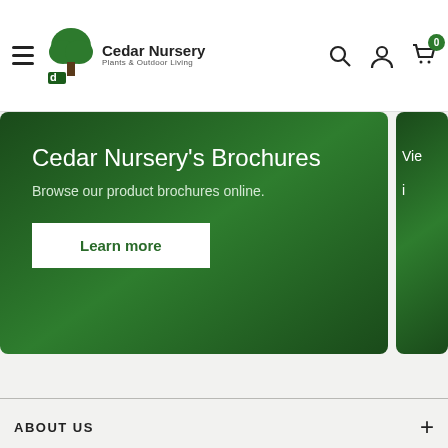Cedar Nursery — navigation bar with hamburger menu, logo, search, account, and cart icons
[Figure (screenshot): Hero banner card with dark green gradient background. Title: Cedar Nursery's Brochures. Subtitle: Browse our product brochures online. Button: Learn more. Partially visible second card to the right showing truncated text 'Vie...' and 'i...']
ABOUT US
TERMS AND POLICIES